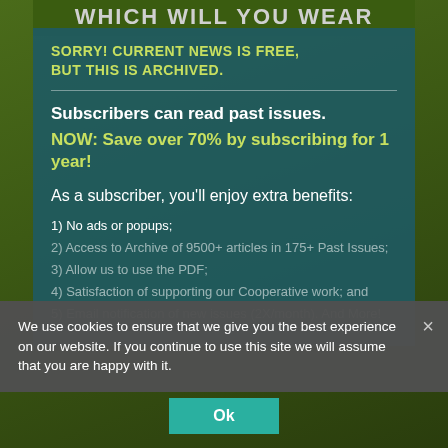WHICH WILL YOU WEAR
SORRY! CURRENT NEWS IS FREE, BUT THIS IS ARCHIVED.
Subscribers can read past issues.
NOW: Save over 70% by subscribing for 1 year!
As a subscriber, you'll enjoy extra benefits:
1) No ads or popups;
2) Access to Archive of 9500+ articles in 175+ Past Issues;
3) Allow us to use the PDF;
4) Satisfaction of supporting our Cooperative work; and
5) Email notification of new issues (2X/month). And More!
We use cookies to ensure that we give you the best experience on our website. If you continue to use this site we will assume that you are happy with it.